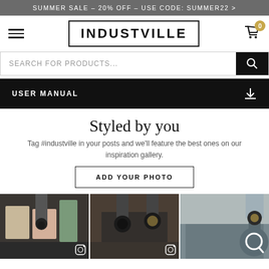SUMMER SALE – 20% OFF – USE CODE: SUMMER22 >
[Figure (logo): Industville logo in bordered box with hamburger menu and shopping cart with badge showing 0]
[Figure (screenshot): Search bar with text SEARCH FOR PRODUCTS... and black search button]
USER MANUAL
Styled by you
Tag #industville in your posts and we'll feature the best ones on our inspiration gallery.
ADD YOUR PHOTO
[Figure (photo): Three product lifestyle photos showing industrial pendant lights in dark interior settings]